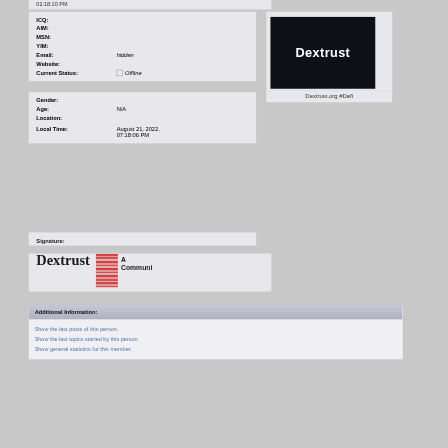02:18:10 PM
ICQ:
AIM:
MSN:
YIM:
Email: hidden
Website:
Current Status: Offline
[Figure (logo): Dark navy background with white bold text 'Dextrust']
Dextrust.org #Defi
Gender:
Age: N/A
Location:
Local Time: August 21, 2022, 07:18:06 PM
Signature:
[Figure (illustration): Dextrust signature banner with bold text 'Dextrust', a stacked red graphic, and text 'A Communi...']
Additional Information:
Show the last posts of this person.
Show the last topics started by this person.
Show general statistics for this member.